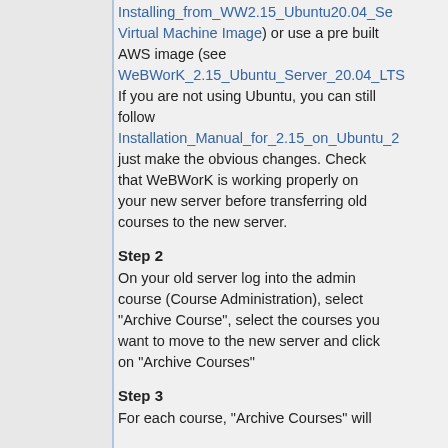Installing_from_WW2.15_Ubuntu20.04_Server_Virtual_Machine_Image) or use a pre built AWS image (see WeBWorK_2.15_Ubuntu_Server_20.04_LTS If you are not using Ubuntu, you can still follow Installation_Manual_for_2.15_on_Ubuntu_2 just make the obvious changes. Check that WeBWorK is working properly on your new server before transferring old courses to the new server.
Step 2
On your old server log into the admin course (Course Administration), select "Archive Course", select the courses you want to move to the new server and click on "Archive Courses"
Step 3
For each course, "Archive Courses" will